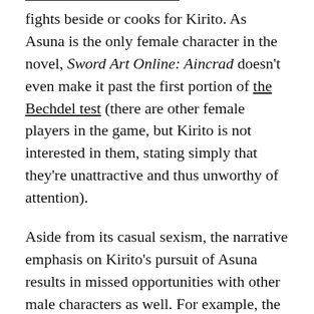fights beside or cooks for Kirito. As Asuna is the only female character in the novel, Sword Art Online: Aincrad doesn't even make it past the first portion of the Bechdel test (there are other female players in the game, but Kirito is not interested in them, stating simply that they're unattractive and thus unworthy of attention).
Aside from its casual sexism, the narrative emphasis on Kirito's pursuit of Asuna results in missed opportunities with other male characters as well. For example, the least utilized but perhaps most interesting character in the novel is Heathcliff, the leader of the Knights of the Blood. Why is this older man playing the game (which is something I wanted